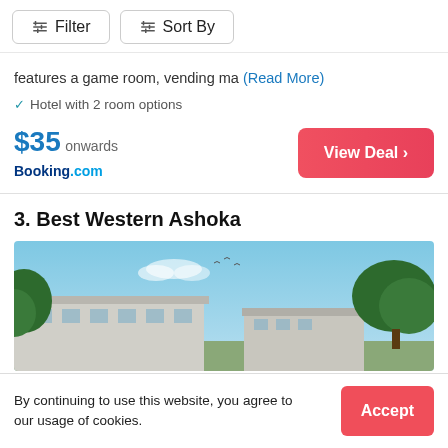Filter | Sort By
features a game room, vending ma (Read More)
Hotel with 2 room options
$35 onwards
Booking.com
3. Best Western Ashoka
[Figure (photo): Exterior photo of Best Western Ashoka hotel building under blue sky with trees]
By continuing to use this website, you agree to our usage of cookies.